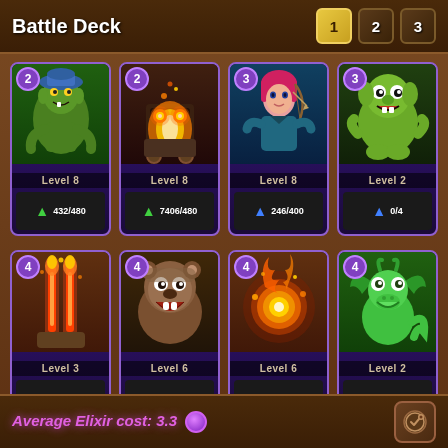Battle Deck
1  2  3
[Figure (screenshot): Card 1: Goblin with hat, Level 8, cost 2, 432/480 XP (green arrow)]
[Figure (screenshot): Card 2: Minecart/Furnace, Level 8, cost 2, 7406/480 XP (green arrow)]
[Figure (screenshot): Card 3: Archer girl with pink hair, Level 8, cost 3, 246/400 XP (blue arrow)]
[Figure (screenshot): Card 4: Goblin, Level 2, cost 3, 0/4 XP (blue arrow)]
[Figure (screenshot): Card 5: Inferno Tower, Level 3, cost 4, 3/10 XP (blue arrow)]
[Figure (screenshot): Card 6: Bear/Hunter, Level 6, cost 4, 16/100 XP (blue arrow)]
[Figure (screenshot): Card 7: Fireball, Level 6, cost 4, 8/100 XP (blue arrow)]
[Figure (screenshot): Card 8: Baby Dragon, Level 2, cost 4, 1/4 XP (blue arrows)]
Average Elixir cost: 3.3